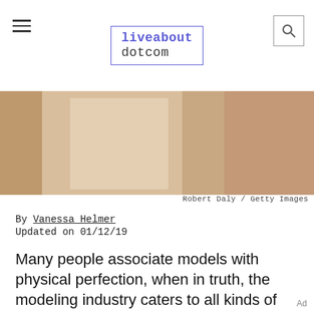liveabout dotcom
[Figure (photo): Close-up photo of a person wearing a white garment, skin tones visible, cropped image]
Robert Daly / Getty Images
By Vanessa Helmer
Updated on 01/12/19
Many people associate models with physical perfection, when in truth, the modeling industry caters to all kinds of body types. Often, the things that make a model look different than anyone else are credited with that model’s success (think Lauren Hutton’s gap smile, Iman’s neck, Cindy Crawford’s mole)